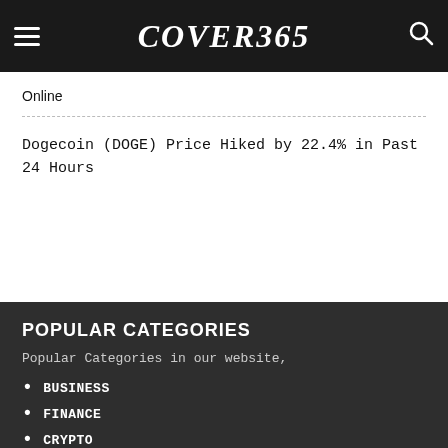COVER365
Online
Dogecoin (DOGE) Price Hiked by 22.4% in Past 24 Hours
POPULAR CATEGORIES
Popular Categories in our website,
BUSINESS
FINANCE
CRYPTO
ENTERTAINMENT